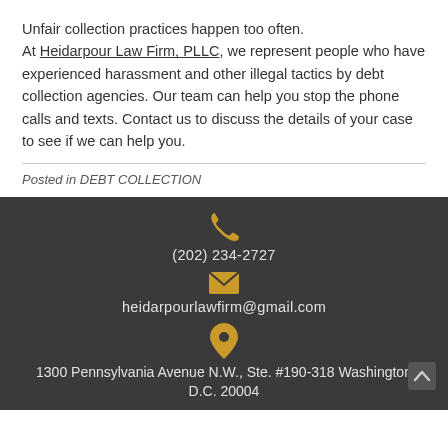Unfair collection practices happen too often. At Heidarpour Law Firm, PLLC, we represent people who have experienced harassment and other illegal tactics by debt collection agencies. Our team can help you stop the phone calls and texts. Contact us to discuss the details of your case to see if we can help you.
Posted in DEBT COLLECTION
(202) 234-2727 | heidarpourlawfirm@gmail.com | 1300 Pennsylvania Avenue N.W., Ste. #190-318 Washington D.C. 20004